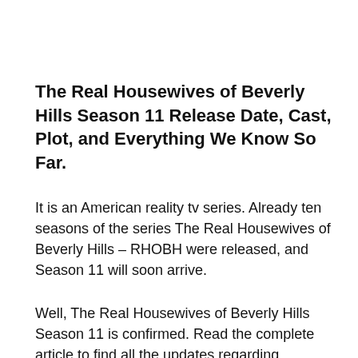The Real Housewives of Beverly Hills Season 11 Release Date, Cast, Plot, and Everything We Know So Far.
It is an American reality tv series. Already ten seasons of the series The Real Housewives of Beverly Hills – RHOBH were released, and Season 11 will soon arrive.
Well, The Real Housewives of Beverly Hills Season 11 is confirmed. Read the complete article to find all the updates regarding RHOBH Season 11.